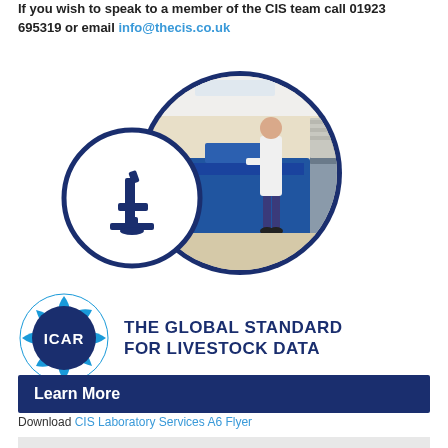If you wish to speak to a member of the CIS team call 01923 695319 or email info@thecis.co.uk
[Figure (illustration): Circular image showing a laboratory with a person in a white coat working at equipment, overlaid with a smaller circle containing a microscope icon outline, all framed with a dark navy blue border circle.]
[Figure (logo): ICAR logo — a dark blue circular badge with 'ICAR' text and decorative geometric pattern, next to text reading 'THE GLOBAL STANDARD FOR LIVESTOCK DATA']
Learn More
Download CIS Laboratory Services A6 Flyer
UKAS Statement of Accreditation